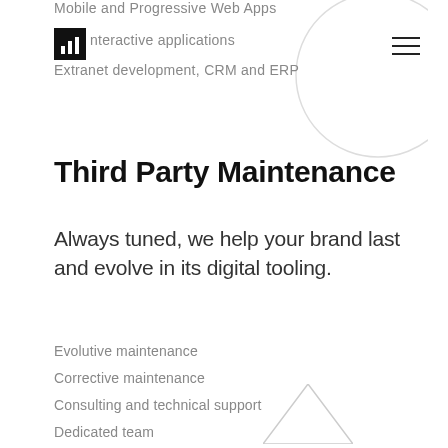Mobile and Progressive Web Apps
Interactive applications
Extranet development, CRM and ERP
Third Party Maintenance
Always tuned, we help your brand last and evolve in its digital tooling.
Evolutive maintenance
Corrective maintenance
Consulting and technical support
Dedicated team